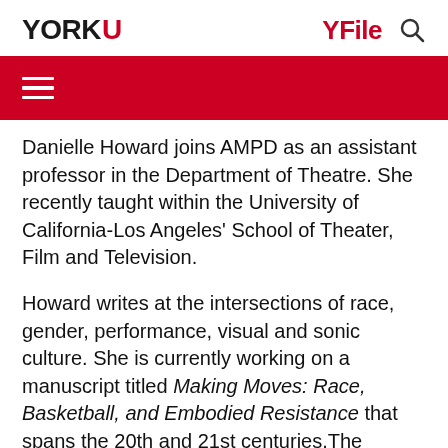YORK U  YFile
Danielle Howard joins AMPD as an assistant professor in the Department of Theatre. She recently taught within the University of California-Los Angeles' School of Theater, Film and Television.
Howard writes at the intersections of race, gender, performance, visual and sonic culture. She is currently working on a manuscript titled Making Moves: Race, Basketball, and Embodied Resistance that spans the 20th and 21st centuries.The project foregrounds Black